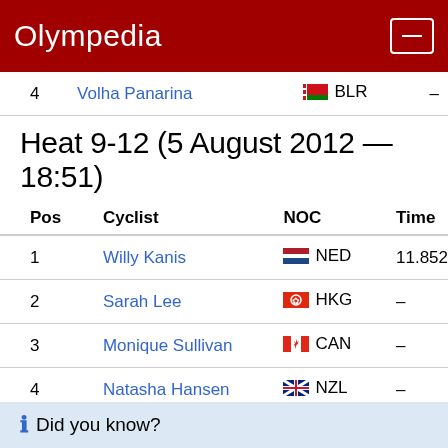Olympedia
| Pos | Cyclist | NOC | Time |
| --- | --- | --- | --- |
| 4 | Volha Panarina | BLR | – |
Heat 9-12 (5 August 2012 — 18:51)
| Pos | Cyclist | NOC | Time |
| --- | --- | --- | --- |
| 1 | Willy Kanis | NED | 11.852 |
| 2 | Sarah Lee | HKG | – |
| 3 | Monique Sullivan | CAN | – |
| 4 | Natasha Hansen | NZL | – |
Did you know?